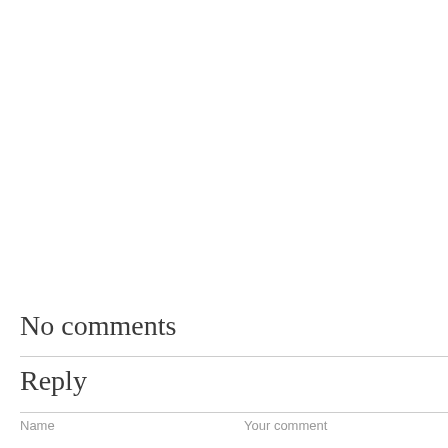No comments
Reply
Name
Your comment